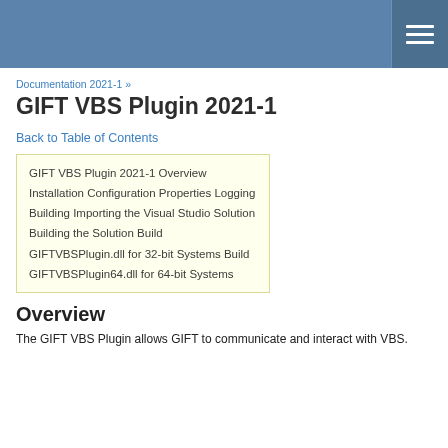Documentation 2021-1 »
GIFT VBS Plugin 2021-1
Back to Table of Contents
GIFT VBS Plugin 2021-1
Overview
Installation
Configuration
Properties
Logging
Building
Importing the Visual Studio Solution
Building the Solution
Build GIFTVBSPlugin.dll for 32-bit Systems
Build GIFTVBSPlugin64.dll for 64-bit Systems
Overview
The GIFT VBS Plugin allows GIFT to communicate and interact with VBS.